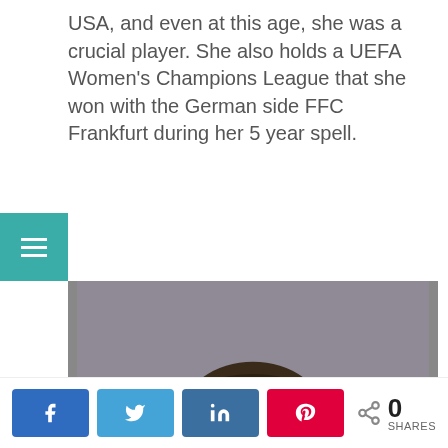USA, and even at this age, she was a crucial player. She also holds a UEFA Women's Champions League that she won with the German side FFC Frankfurt during her 5 year spell.
[Figure (photo): Portrait photo of a female soccer player wearing a white and blue jersey, with hair pulled back, looking seriously toward the camera. Blurred background of a sports field.]
0 SHARES